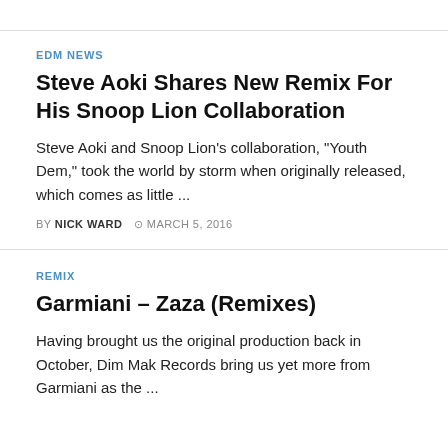EDM NEWS
Steve Aoki Shares New Remix For His Snoop Lion Collaboration
Steve Aoki and Snoop Lion's collaboration, "Youth Dem," took the world by storm when originally released, which comes as little ...
BY NICK WARD  © MARCH 5, 2016
REMIX
Garmiani – Zaza (Remixes)
Having brought us the original production back in October, Dim Mak Records bring us yet more from Garmiani as the ...